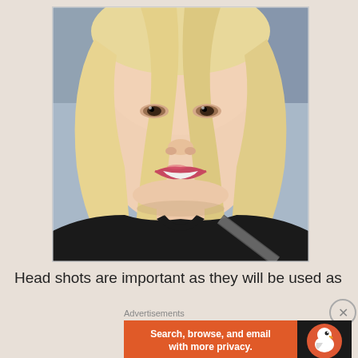[Figure (photo): A selfie photo of a young woman with long blonde hair, wearing a black top and a seatbelt, smiling with red lipstick, taken from chin-level up inside a car.]
Head shots are important as they will be used as
Advertisements
Search, browse, and email with more privacy.